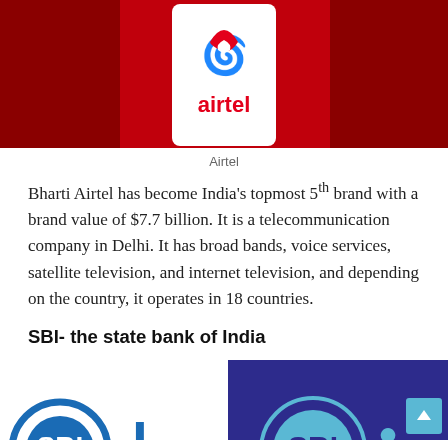[Figure (photo): Airtel brand logo on a smartphone screen against a red background]
Airtel
Bharti Airtel has become India's topmost 5th brand with a brand value of $7.7 billion. It is a telecommunication company in Delhi. It has broad bands, voice services, satellite television, and internet television, and depending on the country, it operates in 18 countries.
SBI- the state bank of India
[Figure (photo): Partial view of SBI (State Bank of India) logo on a dark blue/purple background, with a scroll-to-top button visible]